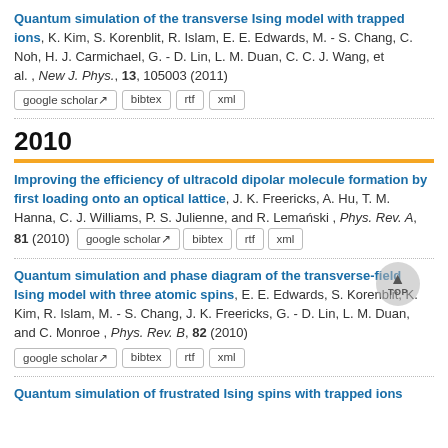Quantum simulation of the transverse Ising model with trapped ions, K. Kim, S. Korenblit, R. Islam, E. E. Edwards, M. - S. Chang, C. Noh, H. J. Carmichael, G. - D. Lin, L. M. Duan, C. C. J. Wang, et al. , New J. Phys., 13, 105003 (2011)
google scholar | bibtex | rtf | xml
2010
Improving the efficiency of ultracold dipolar molecule formation by first loading onto an optical lattice, J. K. Freericks, A. Hu, T. M. Hanna, C. J. Williams, P. S. Julienne, and R. Lemański , Phys. Rev. A, 81 (2010)
google scholar | bibtex | rtf | xml
Quantum simulation and phase diagram of the transverse-field Ising model with three atomic spins, E. E. Edwards, S. Korenblit, K. Kim, R. Islam, M. - S. Chang, J. K. Freericks, G. - D. Lin, L. M. Duan, and C. Monroe , Phys. Rev. B, 82 (2010)
google scholar | bibtex | rtf | xml
Quantum simulation of frustrated Ising spins with trapped ions